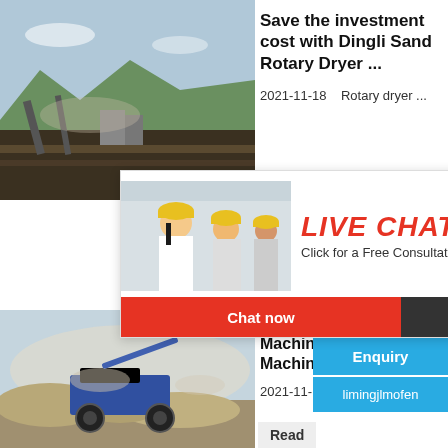[Figure (photo): Aerial/landscape view of a mining or quarry site with machinery and mountains in background]
Save the investment cost with Dingli Sand Rotary Dryer ...
2021-11-18    Rotary dryer ...
[Figure (photo): Live chat popup with workers in yellow hard hats, showing LIVE CHAT heading and Click for a Free Consultation subtitle, with Chat now and Chat later buttons]
[Figure (photo): Industrial crushing/jaw crusher machine image in right side panel]
hour online
Click me to chat>>
Enquiry
limingjlmofen
[Figure (photo): Sand making machine or mobile crusher at a sand production site]
Small S... Machin... Machin...
2021-11-...
Read